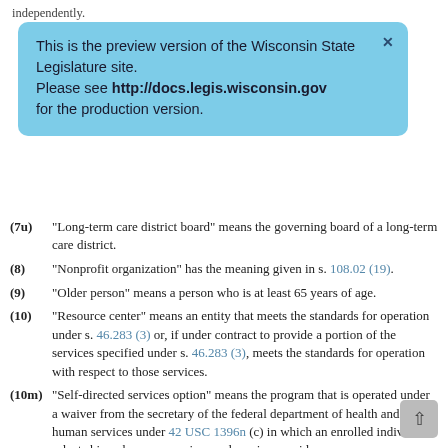independently.
This is the preview version of the Wisconsin State Legislature site. Please see http://docs.legis.wisconsin.gov for the production version.
(7u) "Long-term care district board" means the governing board of a long-term care district.
(8) "Nonprofit organization" has the meaning given in s. 108.02 (19).
(9) "Older person" means a person who is at least 65 years of age.
(10) "Resource center" means an entity that meets the standards for operation under s. 46.283 (3) or, if under contract to provide a portion of the services specified under s. 46.283 (3), meets the standards for operation with respect to those services.
(10m) "Self-directed services option" means the program that is operated under a waiver from the secretary of the federal department of health and human services under 42 USC 1396n (c) in which an enrolled individual selects his or her own services and service providers.
(11) "Tribe or band" means a federally recognized American Indian tribe or band.
History: 1999 a. 9, 185; 2003 a. 33; 2007 a. 20, 141; 2009 a. 347;